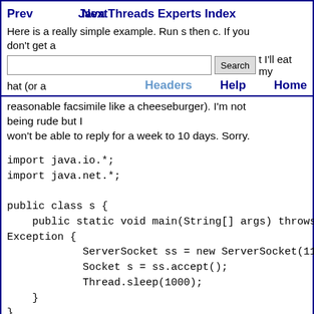Prev  Next  Java Threads Experts Index  Search  Headers  Help  Home
Here is a really simple example. Run s then c. If you don't get a javainstrSocketException.ConnectionReset I'll eat my hat (or a reasonable facsimile like a cheeseburger). I'm not being rude but I won't be able to reply for a week to 10 days. Sorry.
import java.io.*;
import java.net.*;

public class s {
    public static void main(String[] args) throws Exception {
            ServerSocket ss = new ServerSocket(1111);
            Socket s = ss.accept();
            Thread.sleep(1000);
    }
}

import java.io.*;
import java.net.*;

public class c {